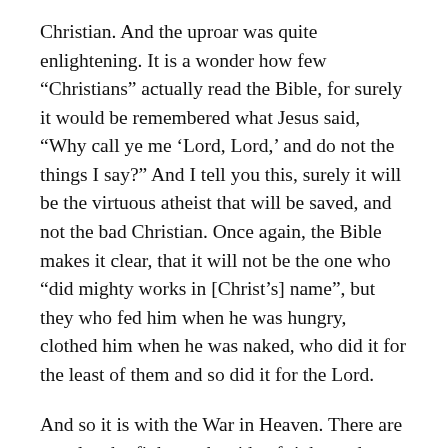Christian. And the uproar was quite enlightening. It is a wonder how few “Christians” actually read the Bible, for surely it would be remembered what Jesus said, “Why call ye me ‘Lord, Lord,’ and do not the things I say?” And I tell you this, surely it will be the virtuous atheist that will be saved, and not the bad Christian. Once again, the Bible makes it clear, that it will not be the one who “did mighty works in [Christ’s] name”, but they who fed him when he was hungry, clothed him when he was naked, who did it for the least of them and so did it for the Lord.
And so it is with the War in Heaven. There are people who fight on the side of right, and most who do so have not an inkling they struggle with us in the War. The highest halls of power are being converted, even as we speak, from the grip of the Age of Iron into the halls of the Age of Gold. One must realize that we make the new Age using the